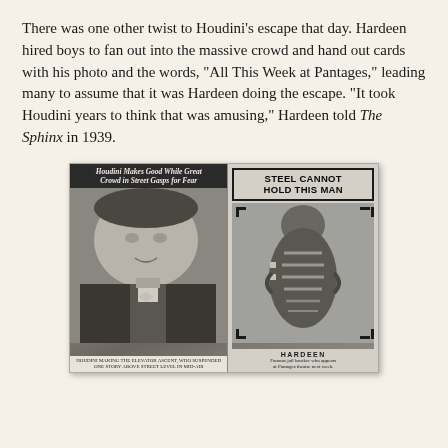There was one other twist to Houdini's escape that day. Hardeen hired boys to fan out into the massive crowd and hand out cards with his photo and the words, "All This Week at Pantages," leading many to assume that it was Hardeen doing the escape. "It took Houdini years to think that was amusing," Hardeen told The Sphinx in 1939.
[Figure (photo): Two newspaper clippings side by side. Left clipping shows a portrait photo of a man (Houdini) with headline 'Houdini Makes Good While Great Crowd in Street Gasps for Fear'. Right clipping shows a man in a straitjacket from behind with headline 'STEEL CANNOT HOLD THIS MAN' and caption 'HARDEEN - Famous jail breaker who appears at Pantages theatre next week.']